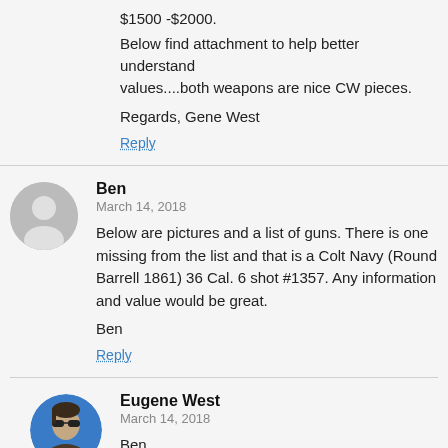$1500 -$2000.
Below find attachment to help better understand values....both weapons are nice CW pieces.

Regards, Gene West
Reply
Ben
March 14, 2018

Below are pictures and a list of guns. There is one missing from the list and that is a Colt Navy (Round Barrell 1861) 36 Cal. 6 shot #1357. Any information and value would be great.

Ben
Reply
Eugene West
March 14, 2018

Ben,
Not certain where to start........the collection of pistols you have is extensive.....it's extremely hard to tell